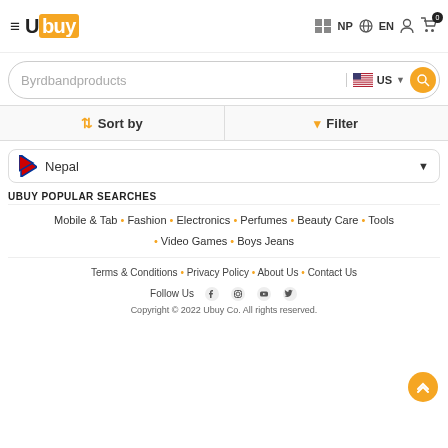Ubuy NP EN
Byrdbandproducts
Sort by  Filter
Nepal
UBUY POPULAR SEARCHES
Mobile & Tab • Fashion • Electronics • Perfumes • Beauty Care • Tools • Video Games • Boys Jeans
Terms & Conditions • Privacy Policy • About Us • Contact Us
Follow Us
Copyright © 2022 Ubuy Co. All rights reserved.